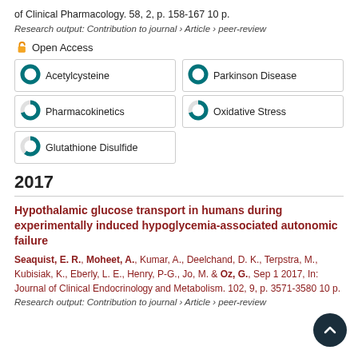of Clinical Pharmacology. 58, 2, p. 158-167 10 p.
Research output: Contribution to journal › Article › peer-review
Open Access
Acetylcysteine
Parkinson Disease
Pharmacokinetics
Oxidative Stress
Glutathione Disulfide
2017
Hypothalamic glucose transport in humans during experimentally induced hypoglycemia-associated autonomic failure
Seaquist, E. R., Moheet, A., Kumar, A., Deelchand, D. K., Terpstra, M., Kubisiak, K., Eberly, L. E., Henry, P-G., Jo, M. & Oz, G., Sep 1 2017, In: Journal of Clinical Endocrinology and Metabolism. 102, 9, p. 3571-3580 10 p.
Research output: Contribution to journal › Article › peer-review